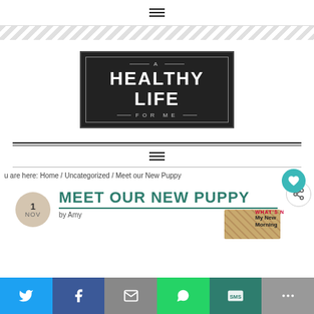≡ (hamburger menu icon)
[Figure (logo): A Healthy Life For Me blog logo — dark background with white text]
≡ (hamburger menu icon)
u are here: Home / Uncategorized / Meet our New Puppy
MEET OUR NEW PUPPY
by Amy
WHAT'S N... My New Morning...
Share bar: Twitter, Facebook, Email, WhatsApp, SMS, More